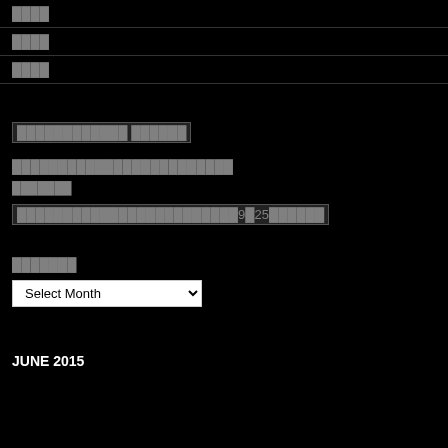████
████
████
████████████ ██████
████████████████████████
███████
████████████████████████9█25██████
███████
Select Month
JUNE 2015